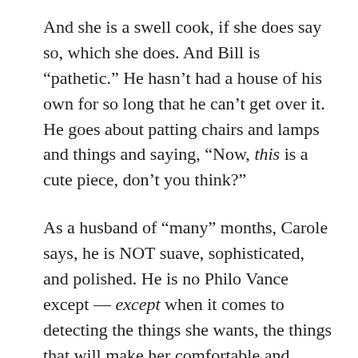And she is a swell cook, if she does say so, which she does. And Bill is “pathetic.” He hasn’t had a house of his own for so long that he can’t get over it. He goes about patting chairs and lamps and things and saying, “Now, this is a cute piece, don’t you think?”
As a husband of “many” months, Carole says, he is NOT suave, sophisticated, and polished. He is no Philo Vance except — except when it comes to detecting the things she wants, the things that will make her comfortable and happy, the little tendernesses and considerations precious to all her feminine hearts. In all such matters, his wife says, he would put Philo Vance, Sherlock Holmes and all of Scotland Yard to shame and confusion. He has second sight where she is concerned. With each week of married life this